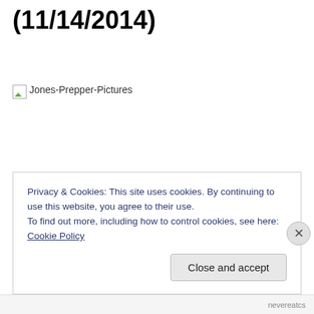Calamities in America (11/14/2014)
[Figure (other): Broken image placeholder labeled Jones-Prepper-Pictures]
Privacy & Cookies: This site uses cookies. By continuing to use this website, you agree to their use.
To find out more, including how to control cookies, see here: Cookie Policy
Close and accept